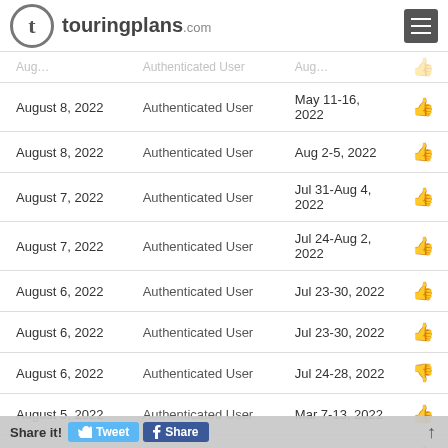touringplans.com
| Date | User | Trip Dates | Rating |
| --- | --- | --- | --- |
| August 8, 2022 | Authenticated User | May 11-16, 2022 | 👍 |
| August 8, 2022 | Authenticated User | Aug 2-5, 2022 | 👍 |
| August 7, 2022 | Authenticated User | Jul 31-Aug 4, 2022 | 👍 |
| August 7, 2022 | Authenticated User | Jul 24-Aug 2, 2022 | 👍 |
| August 6, 2022 | Authenticated User | Jul 23-30, 2022 | 👍 |
| August 6, 2022 | Authenticated User | Jul 23-30, 2022 | 👍 |
| August 6, 2022 | Authenticated User | Jul 24-28, 2022 | 👎 |
| August 5, 2022 | Authenticated User | Mar 7-13, 2022 | 👍 |
| August 3, 2022 | Authenticated User | Jul 27-31, 2022 | 👍 |
| August 3, 2022 | Authenticated User | Jul 24-29, 2022 | 👍 |
| August 2, 2022 | Authenticated User | Jul 5-21, 2022 | 👍 |